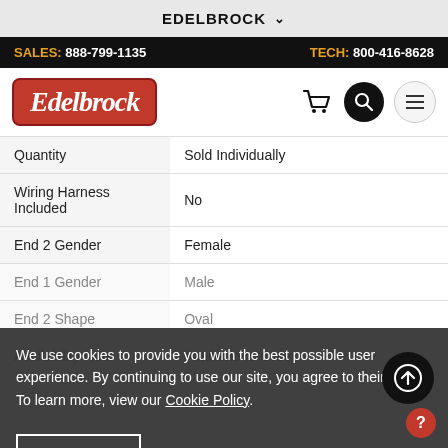EDELBROCK
SALES: 888-799-1135    TECH: 800-416-8628
[Figure (logo): Edelbrock logo in red rounded rectangle with white cursive text]
| Quantity | Sold Individually |
| Wiring Harness Included | No |
| End 2 Gender | Female |
| End 1 Gender | Male |
| End 2 Shape | Oval |
| Availability Note | Available to Order |
We use cookies to provide you with the best possible user experience. By continuing to use our site, you agree to their use. To learn more, view our Cookie Policy.
CLOSE